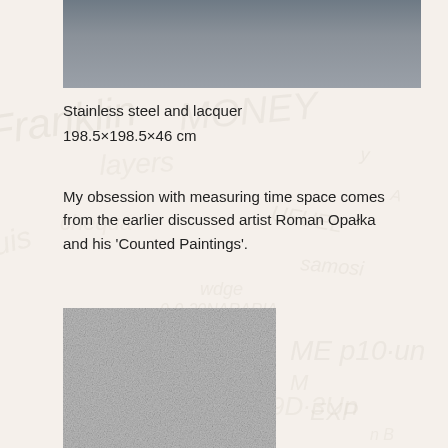[Figure (photo): Top portion of a stainless steel and lacquer artwork, showing a grey metallic surface]
Stainless steel and lacquer
198.5×198.5×46 cm
My obsession with measuring time space comes from the earlier discussed artist Roman Opałka and his 'Counted Paintings'.
[Figure (photo): A grey granular/textured artwork surface, appearing to be a close-up of a counted painting with fine speckled texture]